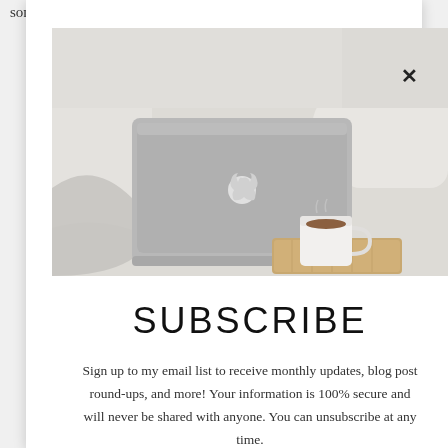some days, a writer other days, a pet caregiver on my
[Figure (photo): Apple MacBook laptop on a bed with rumpled white linen sheets, with a white coffee mug on a wooden tray to the right, lifestyle/blogger aesthetic, light and airy]
SUBSCRIBE
Sign up to my email list to receive monthly updates, blog post round-ups, and more! Your information is 100% secure and will never be shared with anyone. You can unsubscribe at any time.